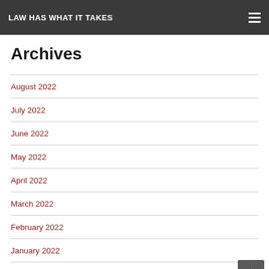LAW HAS WHAT IT TAKES
Archives
August 2022
July 2022
June 2022
May 2022
April 2022
March 2022
February 2022
January 2022
December 2021